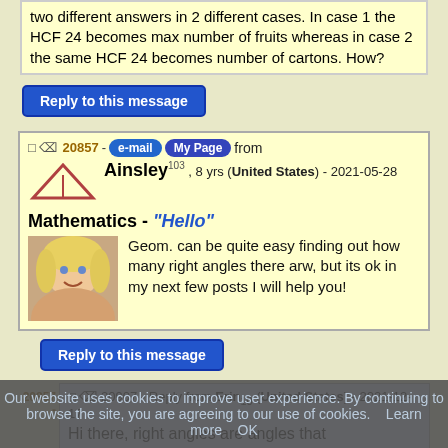two different answers in 2 different cases. In case 1 the HCF 24 becomes max number of fruits whereas in case 2 the same HCF 24 becomes number of cartons. How?
Reply to this message
20857 - e-mail My Page from Ainsley103 , 8 yrs (United States) - 2021-05-28
Mathematics - "Hello"
[Figure (photo): Profile photo of Ainsley, a young girl with blond hair]
Geom. can be quite easy finding out how many right angles there arw, but its ok in my next few posts I will help you!
Reply to this message
20857 - · 20907 - Reply from Erin10 (United States) - 2021-12-17
Hi there, right angles are angles that
Our website uses cookies to improve user experience. By continuing to browse the site, you are agreeing to our use of cookies.    Learn more    OK